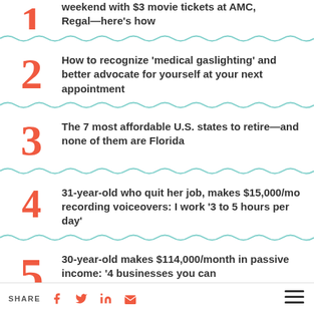weekend with $3 movie tickets at AMC, Regal—here's how
How to recognize 'medical gaslighting' and better advocate for yourself at your next appointment
The 7 most affordable U.S. states to retire—and none of them are Florida
31-year-old who quit her job, makes $15,000/mo recording voiceovers: I work '3 to 5 hours per day'
30-year-old makes $114,000/month in passive income: '4 businesses you can
SHARE